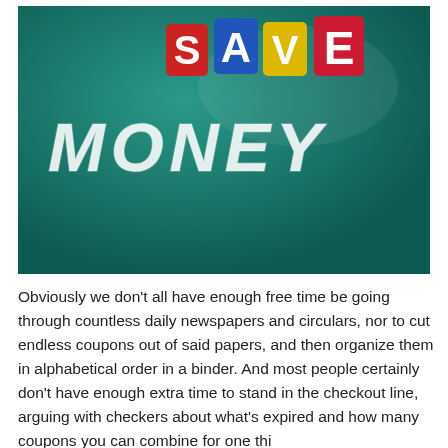[Figure (photo): Photo of a green chalkboard with colorful plastic letter tiles spelling SAVE (S in red, A in blue, V in yellow, E in red) and chalk lettering spelling MONEY below it.]
Obviously we don't all have enough free time be going through countless daily newspapers and circulars, nor to cut endless coupons out of said papers, and then organize them in alphabetical order in a binder.  And most people certainly don't have enough extra time to stand in the checkout line, arguing with checkers about what's expired and how many coupons you can combine for one thi...